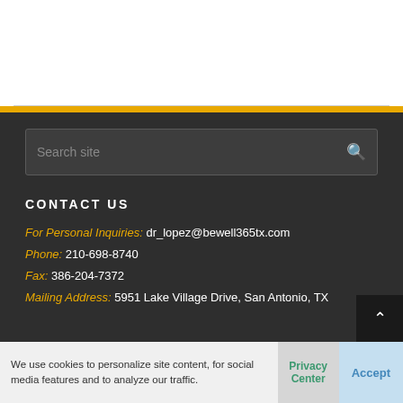Search site
CONTACT US
For Personal Inquiries: dr_lopez@bewell365tx.com
Phone: 210-698-8740
Fax: 386-204-7372
Mailing Address: 5951 Lake Village Drive, San Antonio, TX
We use cookies to personalize site content, for social media features and to analyze our traffic.
Privacy Center
Accept